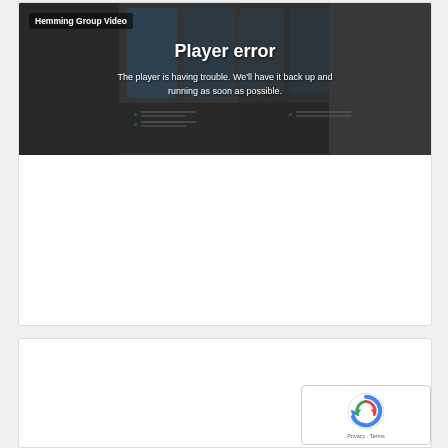[Figure (screenshot): Video player showing a player error message overlaid on a blurred screenshot of mobile app screens. Top-left label reads 'Hemming Group Video'. Center shows 'Player error' in large white bold text, below which reads 'The player is having trouble. We'll have it back up and running as soon as possible.']
[Figure (screenshot): Empty white card area below the video player card, with a reCAPTCHA badge in the bottom-right corner showing the reCAPTCHA logo and 'Privacy - Terms' text.]